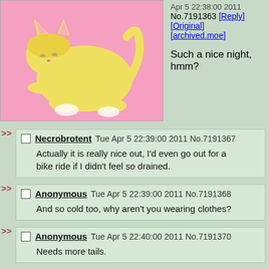[Figure (illustration): Anime-style catgirl illustration with yellow fur/skin, cat ears and tail, lying on a pink background]
Apr 5 22:38:00 2011 No.7191363 [Reply] [Original] [archived.moe]

Such a nice night, hmm?
>> Necrobrotent Tue Apr 5 22:39:00 2011 No.7191367

Actually it is really nice out, I'd even go out for a bike ride if I didn't feel so drained.
>> Anonymous Tue Apr 5 22:39:00 2011 No.7191368

And so cold too, why aren't you wearing clothes?
>> Anonymous Tue Apr 5 22:40:00 2011 No.7191370

Needs more tails.
>> Anonymous Tue Apr 5 22:42:00 2011 No.7191373

It's okay, don't see anything too special about it. It's just like every other night.